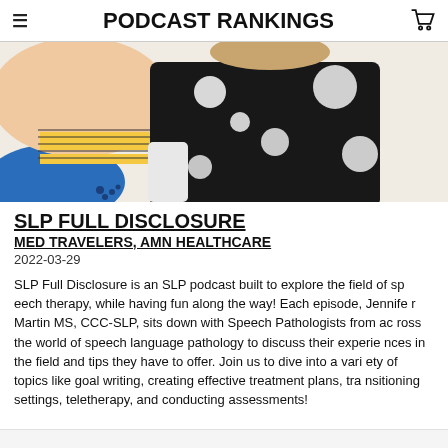PODCAST RANKINGS
[Figure (photo): Person wearing a black sweater with white polka dots, against a colorful abstract background with blue, yellow, and peach shapes]
SLP FULL DISCLOSURE
MED TRAVELERS, AMN HEALTHCARE
2022-03-29
SLP Full Disclosure is an SLP podcast built to explore the field of speech therapy, while having fun along the way! Each episode, Jennifer Martin MS, CCC-SLP, sits down with Speech Pathologists from across the world of speech language pathology to discuss their experiences in the field and tips they have to offer. Join us to dive into a variety of topics like goal writing, creating effective treatment plans, transitioning settings, teletherapy, and conducting assessments!